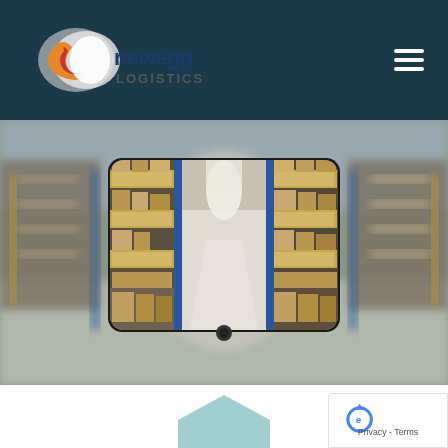newegg LOGISTICS
[Figure (photo): Blurred warehouse background with tall shelving aisles stocked with brown cardboard boxes, with blue and yellow racking; a tablet device in the foreground displays a sharper version of a similar warehouse aisle interior]
[Figure (illustration): Teal/light-blue hexagon shape partially visible at the bottom center of the page]
[Figure (logo): Google reCAPTCHA badge in bottom-right corner showing a recycling-arrow reCAPTCHA icon in blue, with Privacy and Terms text below]